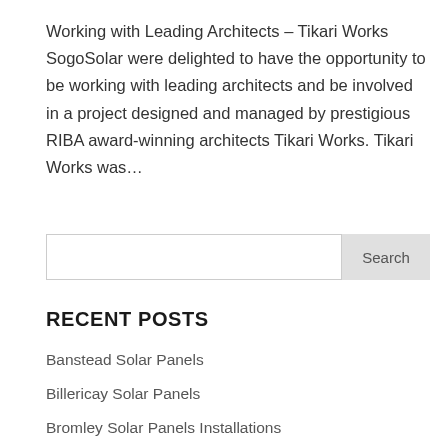Working with Leading Architects – Tikari Works SogoSolar were delighted to have the opportunity to be working with leading architects and be involved in a project designed and managed by prestigious RIBA award-winning architects Tikari Works. Tikari Works was…
[Figure (other): Search input field with Search button]
RECENT POSTS
Banstead Solar Panels
Billericay Solar Panels
Bromley Solar Panels Installations